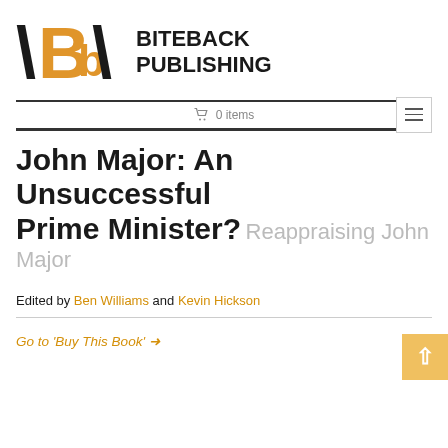[Figure (logo): Biteback Publishing logo with stylized Bb letterforms and backslash marks in orange and black, with BITEBACK PUBLISHING text in bold black]
0 items
John Major: An Unsuccessful Prime Minister? Reappraising John Major
Edited by Ben Williams and Kevin Hickson
Go to 'Buy This Book' →